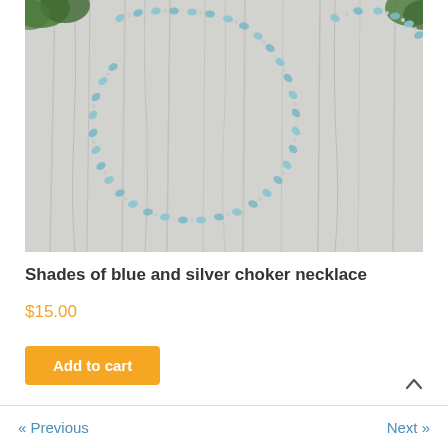[Figure (photo): A beaded choker necklace with light blue/aqua stones and silver beads, displayed on a white-painted wooden surface with some green foliage visible at the top. The necklace forms an arc shape across the image.]
Shades of blue and silver choker necklace
$15.00
Add to cart
« Previous   Next »